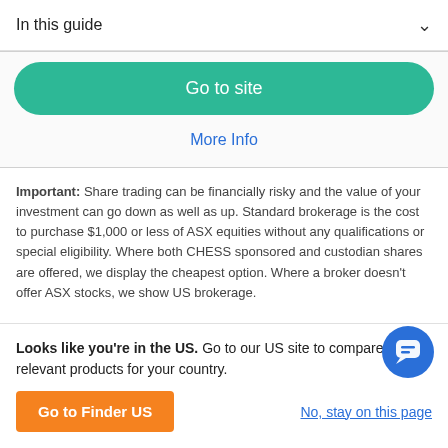In this guide
[Figure (other): Green 'Go to site' button inside a card area]
More Info
Important: Share trading can be financially risky and the value of your investment can go down as well as up. Standard brokerage is the cost to purchase $1,000 or less of ASX equities without any qualifications or special eligibility. Where both CHESS sponsored and custodian shares are offered, we display the cheapest option. Where a broker doesn't offer ASX stocks, we show US brokerage.
Other ways to invest in cryptocurrency
Looks like you're in the US. Go to our US site to compare relevant products for your country.
Go to Finder US
No, stay on this page